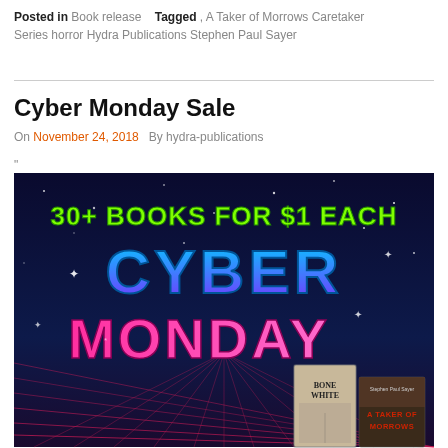Posted in Book release   Tagged , A Taker of Morrows Caretaker Series horror Hydra Publications Stephen Paul Sayer
Cyber Monday Sale
On November 24, 2018  By hydra-publications
"
[Figure (photo): Promotional banner image for Cyber Monday sale: dark space background with neon grid, text '30+ BOOKS FOR $1 EACH' in green graffiti style, 'CYBER MONDAY' in large neon blue and pink letters, with book covers for 'Bone White' and 'A Taker of Morrows' in bottom right corner.]